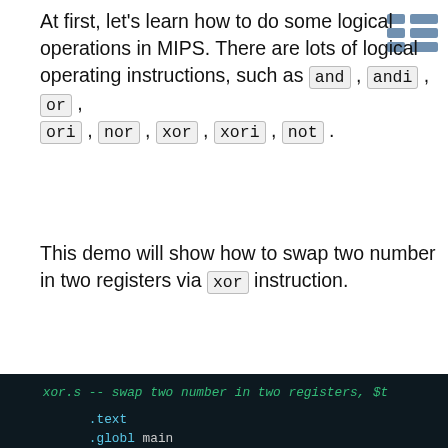At first, let's learn how to do some logical operations in MIPS. There are lots of logical operating instructions, such as and, andi, or, ori, nor, xor, xori, not.
This demo will show how to swap two number in two registers via xor instruction.
[Figure (screenshot): Dark-themed code editor showing MIPS assembly code for xor.s -- swap two number in two registers. Code includes .text, .globl main, main:, .set noreorder, .cpload $gp, .set reorder, lw $t0 x, lw $t1 y, xor $t0 $t0 $t1, xor $t1 $t0 $t1, xor $t0 $t0 $t1, .rdata]